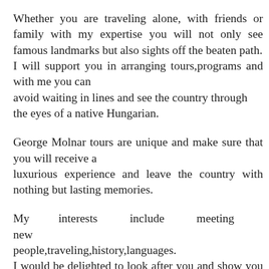Whether you are traveling alone, with friends or family with my expertise you will not only see famous landmarks but also sights off the beaten path. I will support you in arranging tours,programs and with me you can avoid waiting in lines and see the country through the eyes of a native Hungarian.
George Molnar tours are unique and make sure that you will receive a luxurious experience and leave the country with nothing but lasting memories.
My interests include meeting new people,traveling,history,languages. I would be delighted to look after you and show you my